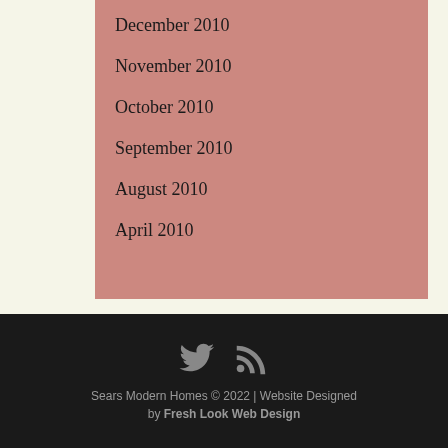December 2010
November 2010
October 2010
September 2010
August 2010
April 2010
Sears Modern Homes © 2022 | Website Designed by Fresh Look Web Design